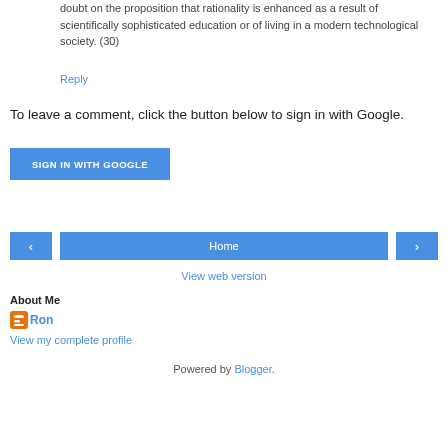doubt on the proposition that rationality is enhanced as a result of scientifically sophisticated education or of living in a modern technological society. (30)
Reply
To leave a comment, click the button below to sign in with Google.
[Figure (other): SIGN IN WITH GOOGLE button (blue rectangular button with white text)]
[Figure (other): Navigation bar with left arrow button, Home button, and right arrow button]
View web version
About Me
Ron
View my complete profile
Powered by Blogger.